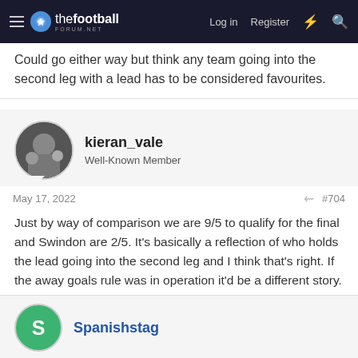thefootball forum.net | Log in | Register
Could go either way but think any team going into the second leg with a lead has to be considered favourites.
kieran_vale
Well-Known Member
May 17, 2022  #704
Just by way of comparison we are 9/5 to qualify for the final and Swindon are 2/5. It's basically a reflection of who holds the lead going into the second leg and I think that's right. If the away goals rule was in operation it'd be a different story.

Basically going into the return legs all possible combinations of final opponents are very much alive.
Spanishstag